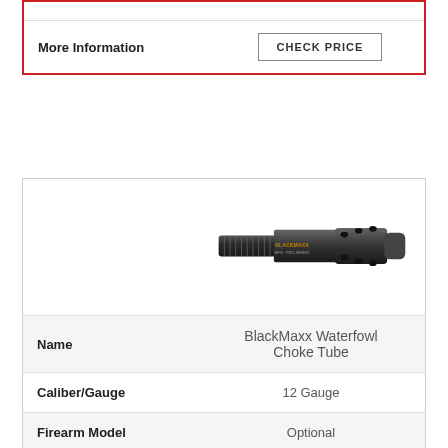|  |  |
| More Information | CHECK PRICE |
|  | [product image: BlackMaxx Waterfowl Choke Tube] |
| Name | BlackMaxx Waterfowl Choke Tube |
| Caliber/Gauge | 12 Gauge |
| Firearm Model | Optional |
| More Information | CHECK PRICE |